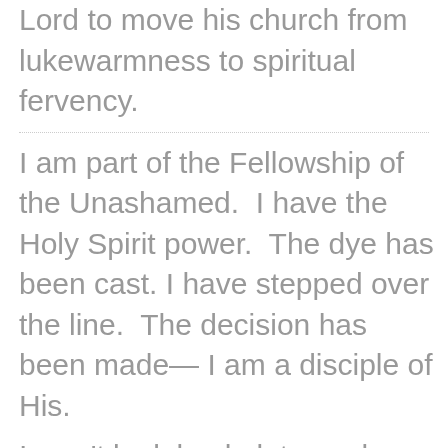Lord to move his church from lukewarmness to spiritual fervency.
I am part of the Fellowship of the Unashamed.  I have the Holy Spirit power.  The dye has been cast. I have stepped over the line.  The decision has been made— I am a disciple of His.
I won't look back, let up, slow down, back away, or be still.
My past is redeemed, my present